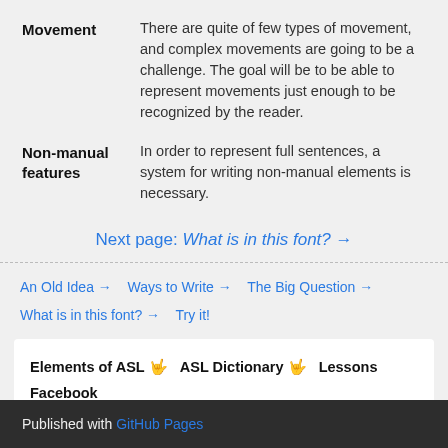Movement	There are quite of few types of movement, and complex movements are going to be a challenge. The goal will be to be able to represent movements just enough to be recognized by the reader.
Non-manual features	In order to represent full sentences, a system for writing non-manual elements is necessary.
Next page: What is in this font? →
An Old Idea → Ways to Write → The Big Question → What is in this font? → Try it!
Elements of ASL 🤟 ASL Dictionary 🤟 Lessons Facebook
Published with GitHub Pages